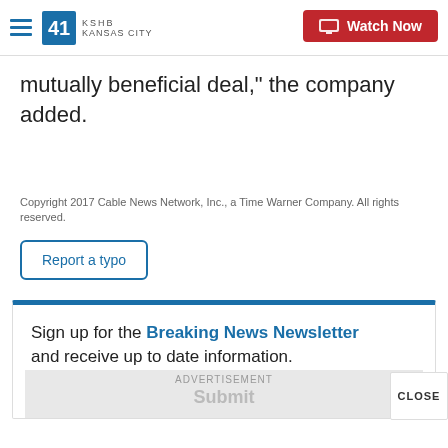41 KSHB KANSAS CITY | Watch Now
mutually beneficial deal," the company added.
Copyright 2017 Cable News Network, Inc., a Time Warner Company. All rights reserved.
Report a typo
Sign up for the Breaking News Newsletter and receive up to date information.
E-mail
ADVERTISEMENT
Submit